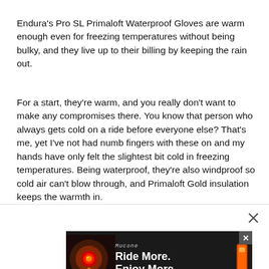Endura's Pro SL Primaloft Waterproof Gloves are warm enough even for freezing temperatures without being bulky, and they live up to their billing by keeping the rain out.
For a start, they're warm, and you really don't want to make any compromises there. You know that person who always gets cold on a ride before everyone else? That's me, yet I've not had numb fingers with these on and my hands have only felt the slightest bit cold in freezing temperatures. Being waterproof, they're also windproof so cold air can't blow through, and Primaloft Gold insulation keeps the warmth in.
Read our review of the Endura Pro SL Primaloft Waterproof Gloves
Find
Diss
[Figure (screenshot): Advertisement banner overlay showing a cycling light product with text 'Ride More. Enjoy More.' and an X close button]